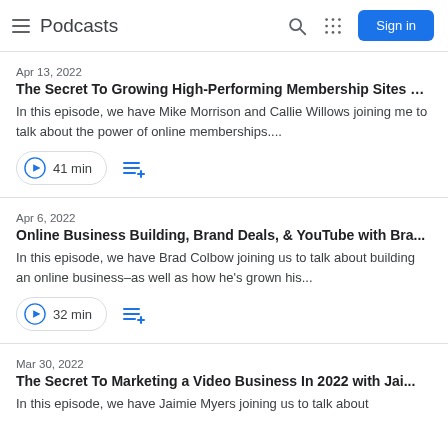Podcasts | Sign in
Apr 13, 2022
The Secret To Growing High-Performing Membership Sites …
In this episode, we have Mike Morrison and Callie Willows joining me to talk about the power of online memberships....
41 min
Apr 6, 2022
Online Business Building, Brand Deals, & YouTube with Bra...
In this episode, we have Brad Colbow joining us to talk about building an online business–as well as how he's grown his...
32 min
Mar 30, 2022
The Secret To Marketing a Video Business In 2022 with Jai...
In this episode, we have Jaimie Myers joining us to talk about